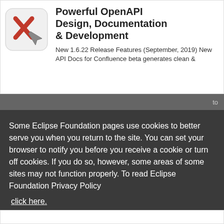[Figure (logo): Square rounded icon with red X mark and gray diamond/cursor arrow, representing an API design tool logo]
Powerful OpenAPI Design, Documentation & Development
New 1.6.22 Release Features (September, 2019) New API Docs for Confluence beta generates clean &
to
Some Eclipse Foundation pages use cookies to better serve you when you return to the site. You can set your browser to notify you before you receive a cookie or turn off cookies. If you do so, however, some areas of some sites may not function properly. To read Eclipse Foundation Privacy Policy
click here.
Decline
Allow cookies